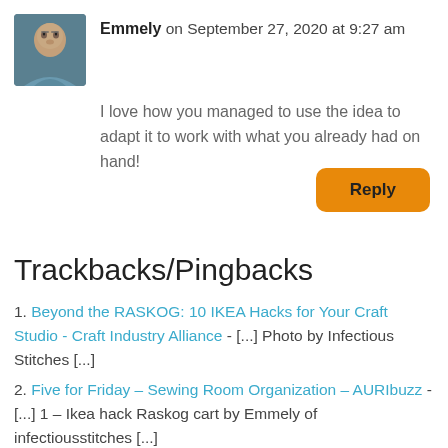[Figure (photo): Avatar photo of Emmely, a woman with glasses and dark hair, wearing a teal top.]
Emmely on September 27, 2020 at 9:27 am
I love how you managed to use the idea to adapt it to work with what you already had on hand!
Reply
Trackbacks/Pingbacks
1. Beyond the RASKOG: 10 IKEA Hacks for Your Craft Studio - Craft Industry Alliance - [...] Photo by Infectious Stitches [...]
2. Five for Friday – Sewing Room Organization – AURIbuzz - [...] 1 – Ikea hack Raskog cart by Emmely of infectiousstitches [...]
3. 10 Pegboard Storage Ideas - Organization Ch...